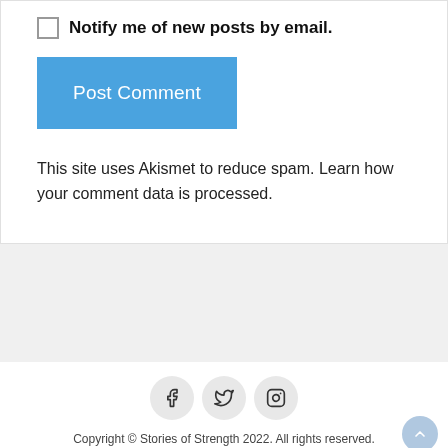Notify me of new posts by email.
Post Comment
This site uses Akismet to reduce spam. Learn how your comment data is processed.
[Figure (illustration): Social media icons: Facebook (f), Twitter (bird), Instagram (camera) in circular gray buttons]
Copyright © Stories of Strength 2022. All rights reserved.